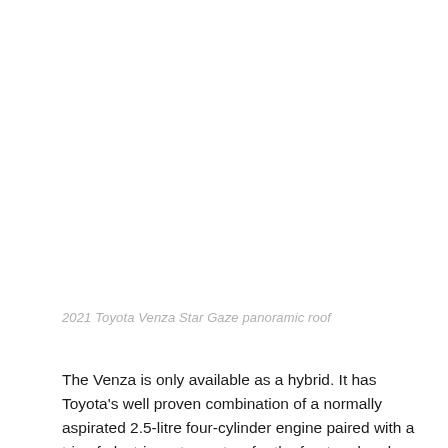2021 Toyota Venza Star Gaze panoramic roof
The Venza is only available as a hybrid. It has Toyota's well proven combination of a normally aspirated 2.5-litre four-cylinder engine paired with a trio of electric motors – two for the front end and one at the rear. A continuously variable automatic transmission is employed.